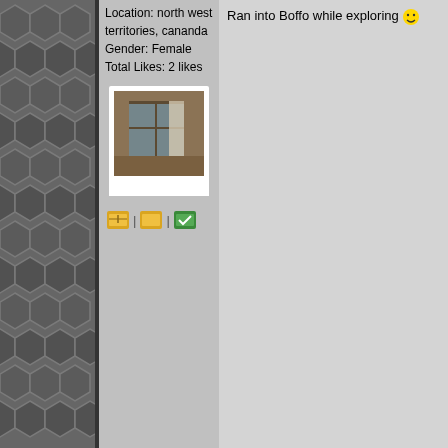Location: north west territories, cananda
Gender: Female
Total Likes: 2 likes
[Figure (photo): Polaroid-style photo of an abandoned room interior with windows and curtains]
[Figure (other): Three small icon buttons in a row]
Ran into Boffo while exploring 🙂
Exile89
[Figure (other): Star rank badge icon]
Location: Kansas City, KS, USA
Gender: Male
Total Likes: 3 likes
Re: How did you new folk find Ul
< Reply # 105 on 3/9/2015 2:25 AM
| Reply with Quote
[Figure (photo): Photo of a red motorcycle parked in a parking lot with blue sky and clouds]
Heard of this place from r/urbanexp